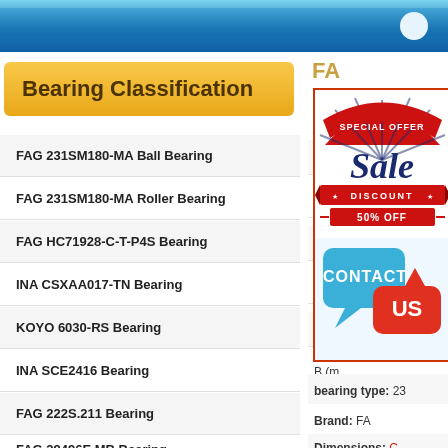Bearing Classification
FAG 231SM180-MA Ball Bearing
FAG 231SM180-MA Roller Bearing
FAG HC71928-C-T-P4S Bearing
INA CSXAA017-TN Bearing
KOYO 6030-RS Bearing
INA SCE2416 Bearing
FAG 222S.211 Bearing
FAG 29496E.MB Bearing
FA
Bearing type:
New:
Old:
d (m
D (m
B (m
bearing type: 23
Brand: FA
Dimensions: C
[Figure (infographic): Special Offer Sale Discount 50% Off red and blue banner ad with Contact Us speech bubble buttons]